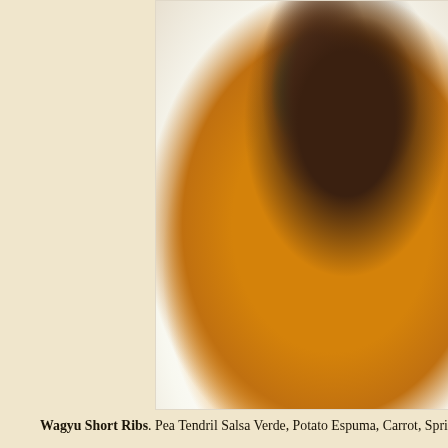[Figure (photo): Close-up photo of a plated dish on a white round plate: a piece of braised or seared dark meat (Wagyu short rib) with amber/orange sauce and green herb garnish (pea tendrils)]
Wagyu Short Ribs. Pea Tendril Salsa Verde, Potato Espuma, Carrot, Spri...
[Figure (photo): Close-up photo of a plated cheese course on a white round plate: a wedge of aged cheese (upper right), dark berries with pink sauce, crystallized sugar piece, green micro-herb garnish, crackers/wafers, with a fork and wooden board visible at the left edge]